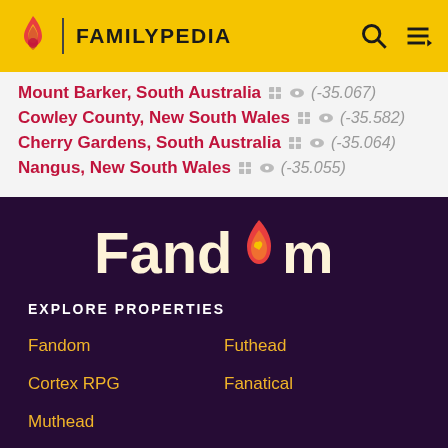FAMILYPEDIA
Mount Barker, South Australia (-35.067)
Cowley County, New South Wales (-35.582)
Cherry Gardens, South Australia (-35.064)
Nangus, New South Wales (-35.055)
[Figure (logo): Fandom logo with flame icon in white and pink/yellow on dark purple background]
EXPLORE PROPERTIES
Fandom
Futhead
Cortex RPG
Fanatical
Muthead